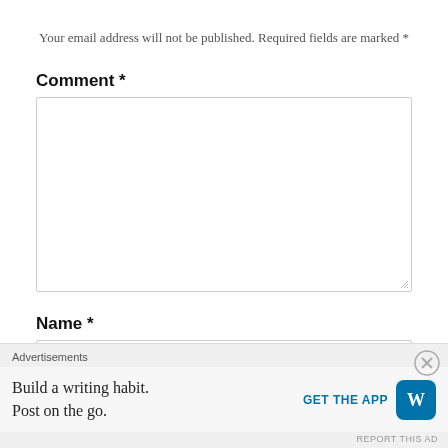Your email address will not be published. Required fields are marked *
Comment *
[Comment textarea box]
Name *
[Name input box]
Email *
Advertisements
Build a writing habit. Post on the go.
GET THE APP
REPORT THIS AD